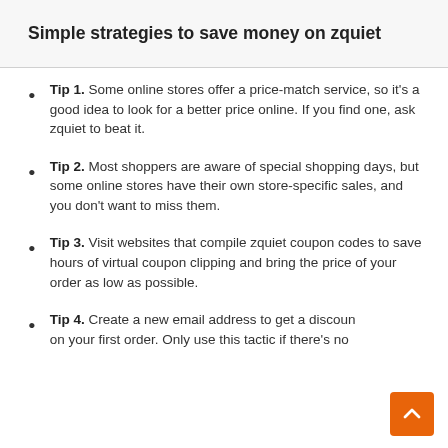Simple strategies to save money on zquiet
Tip 1. Some online stores offer a price-match service, so it's a good idea to look for a better price online. If you find one, ask zquiet to beat it.
Tip 2. Most shoppers are aware of special shopping days, but some online stores have their own store-specific sales, and you don't want to miss them.
Tip 3. Visit websites that compile zquiet coupon codes to save hours of virtual coupon clipping and bring the price of your order as low as possible.
Tip 4. Create a new email address to get a discount on your first order. Only use this tactic if there's no